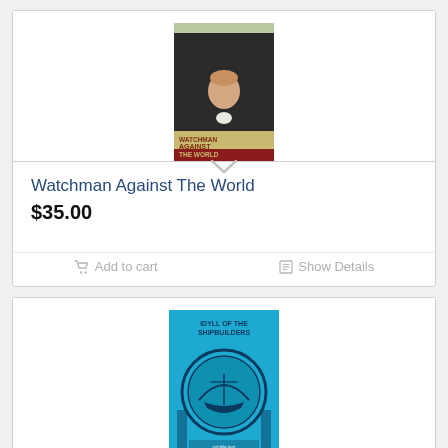[Figure (illustration): Book cover of 'Watchman Against The World' — portrait of an elderly man in dark clothes against a map background, with title text on a tan and red banner]
Watchman Against The World
$35.00
Add to cart
Show Details
[Figure (illustration): Book cover of 'Idyll of the Shipbuilders' — bright blue cover with a circular illustration of a sailing ship, decorative framing]
Idyll of the Shipbuilders
$12.00